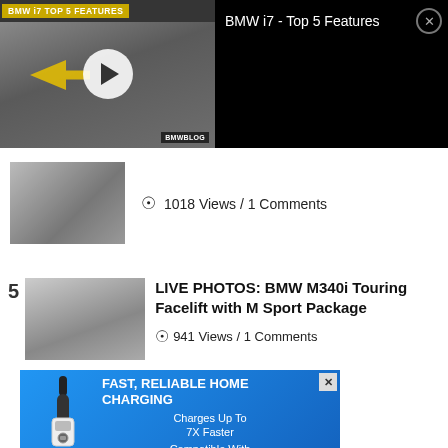[Figure (screenshot): Video player overlay showing BMW i7 - Top 5 Features video with thumbnail on left and dark panel with title on right, close button in corner]
1018 Views / 1 Comments
LIVE PHOTOS: BMW M340i Touring Facelift with M Sport Package
941 Views / 1 Comments
[Figure (screenshot): Advertisement banner: FAST, RELIABLE HOME CHARGING - Charges Up To 7X Faster - Compatible With All El...]